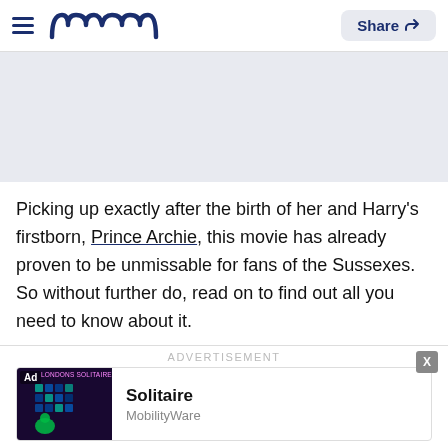Meaww — Share
[Figure (other): Gray advertisement placeholder banner]
Picking up exactly after the birth of her and Harry's firstborn, Prince Archie, this movie has already proven to be unmissable for fans of the Sussexes. So without further do, read on to find out all you need to know about it.
ADVERTISEMENT
[Figure (screenshot): Ad card for Solitaire by MobilityWare with game screenshot thumbnail]